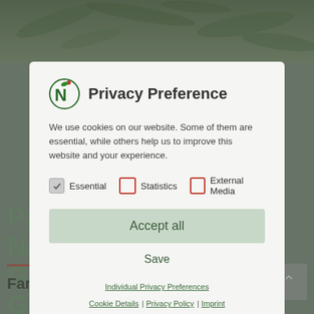[Figure (screenshot): Background website page with green vegetation photo at top, green text 'Papua New Guinea Girambine' on left side, 'Farm Coffee' text at bottom, and a gray back-to-top button at bottom right.]
Privacy Preference
We use cookies on our website. Some of them are essential, while others help us to improve this website and your experience.
Essential   Statistics   External Media
Accept all
Save
Individual Privacy Preferences
Cookie Details | Privacy Policy | Imprint